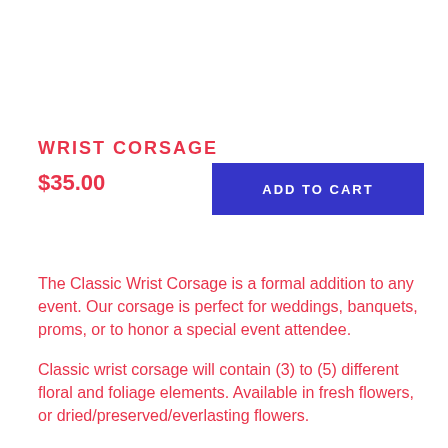WRIST CORSAGE
$35.00
ADD TO CART
The Classic Wrist Corsage is a formal addition to any event. Our corsage is perfect for weddings, banquets, proms, or to honor a special event attendee.
Classic wrist corsage will contain (3) to (5) different floral and foliage elements. Available in fresh flowers, or dried/preserved/everlasting flowers.